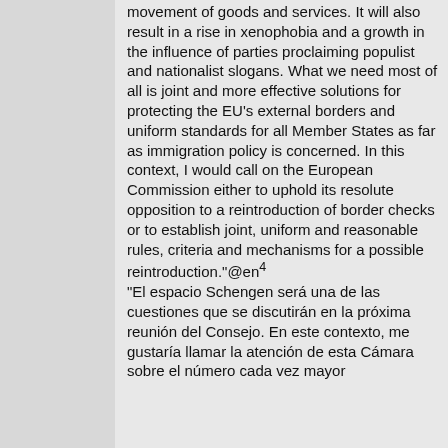movement of goods and services. It will also result in a rise in xenophobia and a growth in the influence of parties proclaiming populist and nationalist slogans. What we need most of all is joint and more effective solutions for protecting the EU's external borders and uniform standards for all Member States as far as immigration policy is concerned. In this context, I would call on the European Commission either to uphold its resolute opposition to a reintroduction of border checks or to establish joint, uniform and reasonable rules, criteria and mechanisms for a possible reintroduction."@en⁴ "El espacio Schengen será una de las cuestiones que se discutirán en la próxima reunión del Consejo. En este contexto, me gustaría llamar la atención de esta Cámara sobre el número cada vez mayor